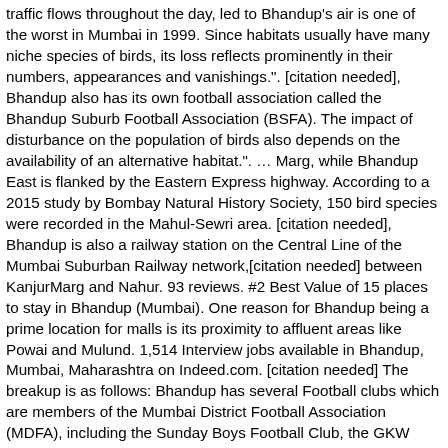traffic flows throughout the day, led to Bhandup's air is one of the worst in Mumbai in 1999. Since habitats usually have many niche species of birds, its loss reflects prominently in their numbers, appearances and vanishings.". [citation needed], Bhandup also has its own football association called the Bhandup Suburb Football Association (BSFA). The impact of disturbance on the population of birds also depends on the availability of an alternative habitat.". … Marg, while Bhandup East is flanked by the Eastern Express highway. According to a 2015 study by Bombay Natural History Society, 150 bird species were recorded in the Mahul-Sewri area. [citation needed], Bhandup is also a railway station on the Central Line of the Mumbai Suburban Railway network,[citation needed] between KanjurMarg and Nahur. 93 reviews. #2 Best Value of 15 places to stay in Bhandup (Mumbai). One reason for Bhandup being a prime location for malls is its proximity to affluent areas like Powai and Mulund. 1,514 Interview jobs available in Bhandup, Mumbai, Maharashtra on Indeed.com. [citation needed] The breakup is as follows: Bhandup has several Football clubs which are members of the Mumbai District Football Association (MDFA), including the Sunday Boys Football Club, the GKW Rangers, Ushanagar Youth CluB, DATAR CHAMP'S Football Club (DC), Samarth Garden Football Club (S.G.F.C), UshaComplex Football club (U.C.F.C). [6], The majority of residents of Bhandup are Hindus by religion. Guards from the Maharashtra State Security Corporation will be deployed for patrolling the open spaces.", Watch: Tiger drags safari